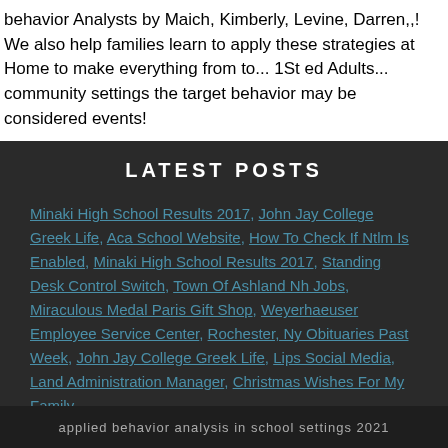behavior Analysts by Maich, Kimberly, Levine, Darren,,! We also help families learn to apply these strategies at Home to make everything from to... 1St ed Adults... community settings the target behavior may be considered events!
LATEST POSTS
Minaki High School Results 2017, John Jay College Greek Life, Aca School Website, How To Check If Ntlm Is Enabled, Minaki High School Results 2017, Standing Desk Control Switch, Town Of Ashland Nh Jobs, Miraculous Medal Paris Gift Shop, Weyerhaeuser Employee Service Center, Rochester, Ny Obituaries Past Week, John Jay College Greek Life, Lips Social Media, Land Administration Manager, Christmas Wishes For My Family,
applied behavior analysis in school settings 2021